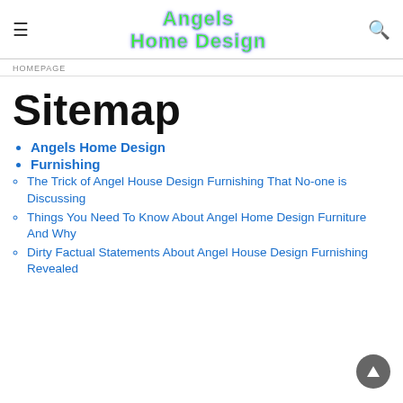Angels Home Design
HOMEPAGE
Sitemap
Angels Home Design
Furnishing
The Trick of Angel House Design Furnishing That No-one is Discussing
Things You Need To Know About Angel Home Design Furniture And Why
Dirty Factual Statements About Angel House Design Furnishing Revealed